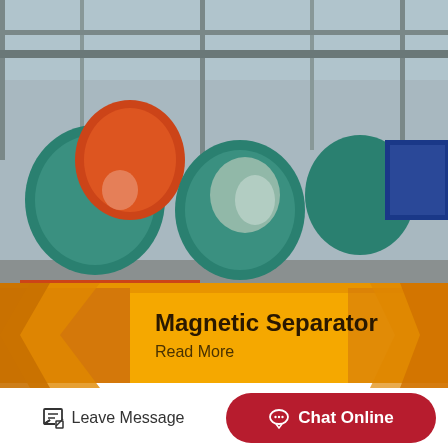[Figure (photo): Industrial facility interior showing multiple magnetic separator machines with orange frames and teal/green drum components, motors, and conveyor mechanisms on a factory floor with steel structure ceiling]
Magnetic Separator
Read More
Leave Message
Chat Online